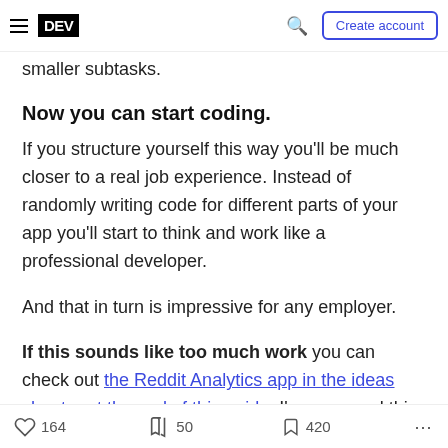DEV — Create account
smaller subtasks.
Now you can start coding.
If you structure yourself this way you'll be much closer to a real job experience. Instead of randomly writing code for different parts of your app you'll start to think and work like a professional developer.
And that in turn is impressive for any employer.
If this sounds like too much work you can check out the Reddit Analytics app in the ideas chapter at the end of this guide. I've prepared this project for
164  50  420